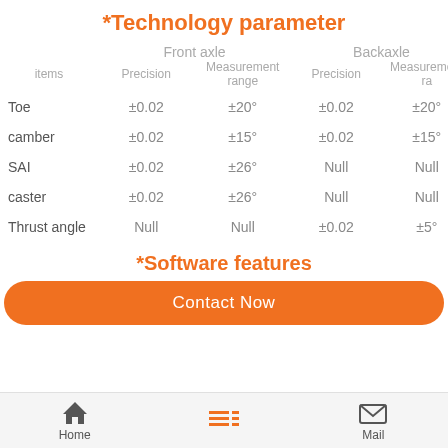*Technology parameter
| items | Precision (Front axle) | Measurement range (Front axle) | Precision (Backaxle) | Measurement range (Backaxle) |
| --- | --- | --- | --- | --- |
| Toe | ±0.02 | ±20° | ±0.02 | ±20° |
| camber | ±0.02 | ±15° | ±0.02 | ±15° |
| SAI | ±0.02 | ±26° | Null | Null |
| caster | ±0.02 | ±26° | Null | Null |
| Thrust angle | Null | Null | ±0.02 | ±5° |
*Software features
Contact Now
Home | Mail